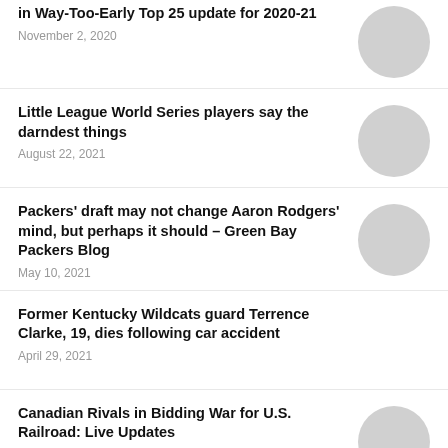in Way-Too-Early Top 25 update for 2020-21
November 2, 2020
Little League World Series players say the darndest things
August 22, 2021
Packers' draft may not change Aaron Rodgers' mind, but perhaps it should – Green Bay Packers Blog
May 10, 2021
Former Kentucky Wildcats guard Terrence Clarke, 19, dies following car accident
April 29, 2021
Canadian Rivals in Bidding War for U.S. Railroad: Live Updates
April 21, 2021